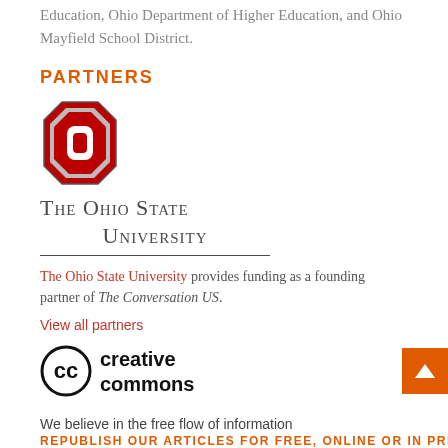Education, Ohio Department of Higher Education, and Ohio Mayfield School District.
PARTNERS
[Figure (logo): The Ohio State University logo: red block-O with gray text 'The Ohio State University']
The Ohio State University provides funding as a founding partner of The Conversation US.
View all partners
[Figure (logo): Creative Commons logo: CC circle icon with bold text 'creative commons']
We believe in the free flow of information
REPUBLISH OUR ARTICLES FOR FREE, ONLINE OR IN PRINT, UNDER